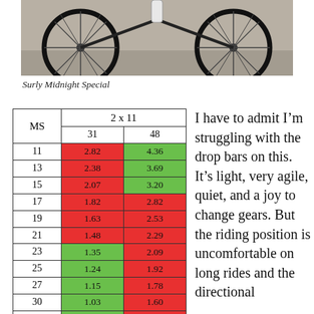[Figure (photo): Bicycle wheels resting on ground — Surly Midnight Special bike photo cropped to show wheels]
Surly Midnight Special
| MS | 2 x 11 — 31 | 2 x 11 — 48 |
| --- | --- | --- |
| 11 | 2.82 | 4.36 |
| 13 | 2.38 | 3.69 |
| 15 | 2.07 | 3.20 |
| 17 | 1.82 | 2.82 |
| 19 | 1.63 | 2.53 |
| 21 | 1.48 | 2.29 |
| 23 | 1.35 | 2.09 |
| 25 | 1.24 | 1.92 |
| 27 | 1.15 | 1.78 |
| 30 | 1.03 | 1.60 |
| 34 | 0.91 | 1.41 |
Midnight Special Gear Ratios
I have to admit I'm struggling with the drop bars on this.  It's light, very agile, quiet, and a joy to change gears.  But the riding position is uncomfortable on long rides and the directional